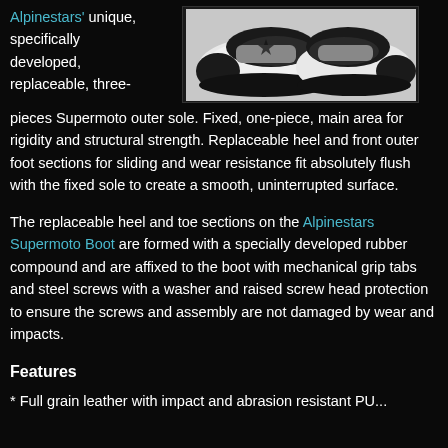Alpinestars' unique, specifically developed, replaceable, three-pieces Supermoto outer sole. Fixed, one-piece, main area for rigidity and structural strength. Replaceable heel and front outer foot sections for sliding and wear resistance fit absolutely flush with the fixed sole to create a smooth, uninterrupted surface.
[Figure (photo): Photo of Alpinestars Supermoto boots (black and white/grey), viewed from above at an angle]
The replaceable heel and toe sections on the Alpinestars Supermoto Boot are formed with a specially developed rubber compound and are affixed to the boot with mechanical grip tabs and steel screws with a washer and raised screw head protection to ensure the screws and assembly are not damaged by wear and impacts.
Features
* Full grain leather with impact and abrasion resistant PU...